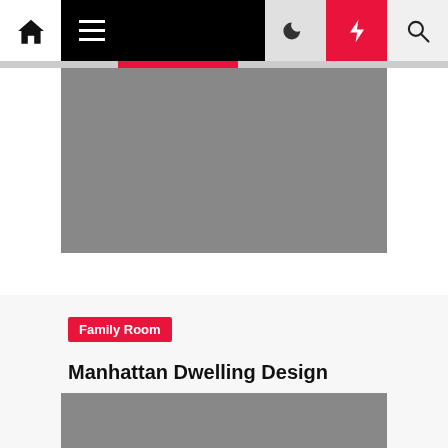Navigation bar with home, menu, moon, bolt, and search icons
[Figure (photo): Gray placeholder image at top of article]
Family Room
Manhattan Dwelling Design
Gertrude Aziz  3 years ago
[Figure (photo): Gray placeholder image at bottom of page]